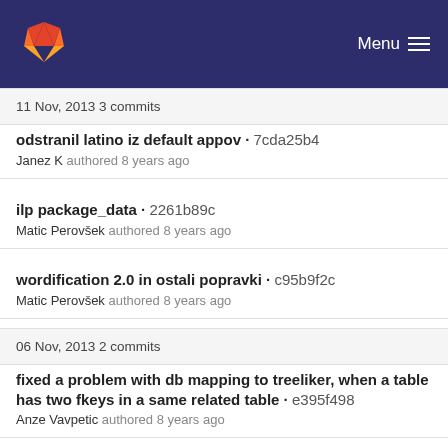Menu
11 Nov, 2013 3 commits
odstranil latino iz default appov · 7cda25b4
Janez K authored 8 years ago
ilp package_data · 2261b89c
Matic Perovšek authored 8 years ago
wordification 2.0 in ostali popravki · c95b9f2c
Matic Perovšek authored 8 years ago
06 Nov, 2013 2 commits
fixed a problem with db mapping to treeliker, when a table has two fkeys in a same related table · e395f498
Anze Vavpetic authored 8 years ago
dodal benchmark output · 59369bed
Janez K authored 8 years ago